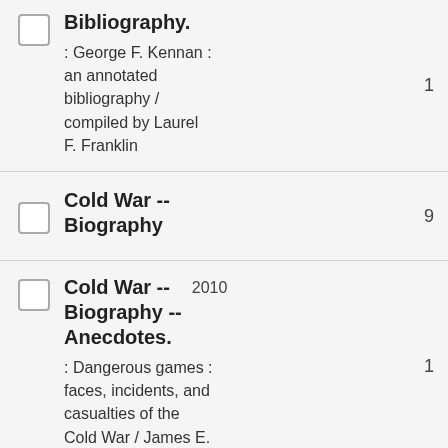Bibliography. : George F. Kennan : an annotated bibliography / compiled by Laurel F. Franklin
Cold War -- Biography
Cold War -- Biography -- Anecdotes. : Dangerous games : faces, incidents, and casualties of the Cold War / James E. Wise, Jr. and Scott